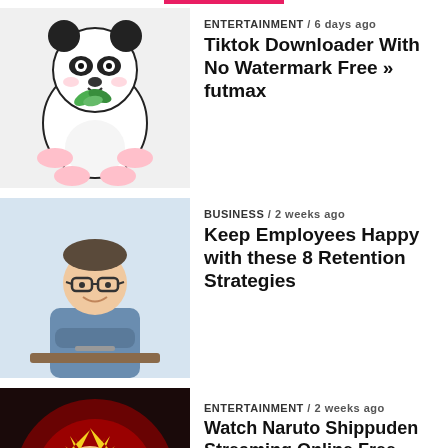[Figure (illustration): Panda cartoon holding green leaves]
ENTERTAINMENT / 6 days ago
Tiktok Downloader With No Watermark Free » futmax
[Figure (photo): Man with glasses sitting at desk, smiling]
BUSINESS / 2 weeks ago
Keep Employees Happy with these 8 Retention Strategies
[Figure (illustration): Naruto anime character with text NARUTO]
ENTERTAINMENT / 2 weeks ago
Watch Naruto Shippuden Streaming Online Free
TRENDING
BUSINESS / 8 months ago
What is homework spelled backwards?